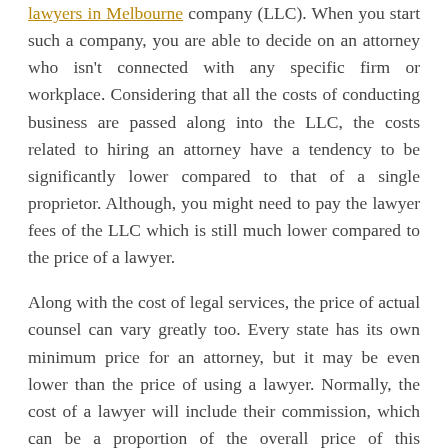lawyers in Melbourne company (LLC). When you start such a company, you are able to decide on an attorney who isn't connected with any specific firm or workplace. Considering that all the costs of conducting business are passed along into the LLC, the costs related to hiring an attorney have a tendency to be significantly lower compared to that of a single proprietor. Although, you might need to pay the lawyer fees of the LLC which is still much lower compared to the price of a lawyer.
Along with the cost of legal services, the price of actual counsel can vary greatly too. Every state has its own minimum price for an attorney, but it may be even lower than the price of using a lawyer. Normally, the cost of a lawyer will include their commission, which can be a proportion of the overall price of this circumstance. Furthermore, in some states, there is a flat fee established by legislation. If the situation is very complicated, the attorney may require up to one thousand dollars in upfront fees. As a result, the cost of legal services for most people are